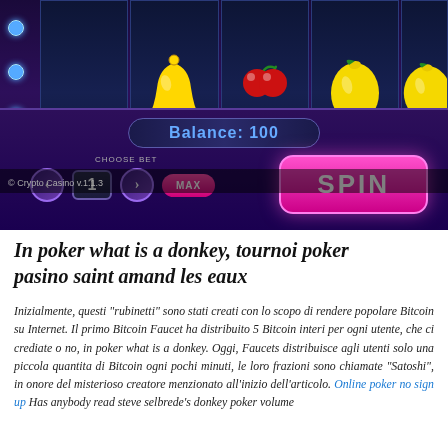[Figure (screenshot): Screenshot of a crypto casino slot machine game interface showing slot reels with fruit symbols (bell, cherries, lemon), a balance display showing 'Balance: 100', a 'CHOOSE BET' section with value 1 and arrow buttons, a MAX button, and a pink SPIN button. Copyright notice reads '© Crypto Casino v.1.1.3'.]
In poker what is a donkey, tournoi poker pasino saint amand les eaux
Inizialmente, questi "rubinetti" sono stati creati con lo scopo di rendere popolare Bitcoin su Internet. Il primo Bitcoin Faucet ha distribuito 5 Bitcoin interi per ogni utente, che ci crediate o no, in poker what is a donkey. Oggi, Faucets distribuisce agli utenti solo una piccola quantita di Bitcoin ogni pochi minuti, le loro frazioni sono chiamate "Satoshi", in onore del misterioso creatore menzionato all'inizio dell'articolo. Online poker no sign up Has anybody read steve selbrede's donkey poker volume